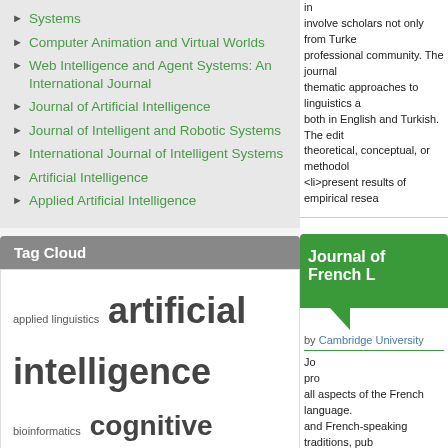Systems
Computer Animation and Virtual Worlds
Web Intelligence and Agent Systems: An International Journal
Journal of Artificial Intelligence
Journal of Intelligent and Robotic Systems
International Journal of Intelligent Systems
Artificial Intelligence
Applied Artificial Intelligence
Tag Cloud
applied linguistics artificial intelligence bioinformatics cognitive science communication computational intelligence computational linguistics computer science computer vision data mining discourse analysis expert systems fuzzy logic genetic algorithms
involve scholars not only from Turkey professional community. The journal thematic approaches to linguistics and both in English and Turkish. The editorial theoretical, conceptual, or methodological <li>present results of empirical research
[Figure (other): Green speech bubble box with title 'Journal of French L']
by Cambridge University
Journal of French Language provides all aspects of the French language. and French-speaking traditions, pub morphology, syntax, lexis and semantics is synchronic in orientation, but historically of the acquisition of the French language